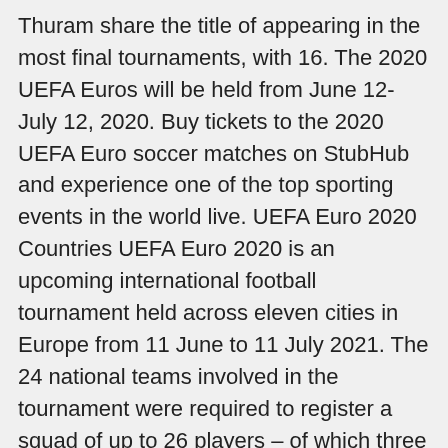Thuram share the title of appearing in the most final tournaments, with 16. The 2020 UEFA Euros will be held from June 12-July 12, 2020. Buy tickets to the 2020 UEFA Euro soccer matches on StubHub and experience one of the top sporting events in the world live. UEFA Euro 2020 Countries UEFA Euro 2020 is an upcoming international football tournament held across eleven cities in Europe from 11 June to 11 July 2021. The 24 national teams involved in the tournament were required to register a squad of up to 26 players – of which three must be goalkeepers – by 1 June 2021, 23:59 CEST (), 10 days prior to the opening match of the tournament. Nov 18, 2019 · Highlights. Cristiano Ronaldo scored his 99th international goal as reigning champions Portugal secured their place at the Euro 2020 finals on Sunday with a 2-0 victory away to Luxembourg.